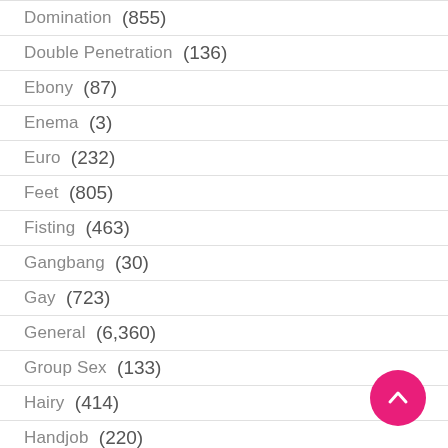Domination (855)
Double Penetration (136)
Ebony (87)
Enema (3)
Euro (232)
Feet (805)
Fisting (463)
Gangbang (30)
Gay (723)
General (6,360)
Group Sex (133)
Hairy (414)
Handjob (220)